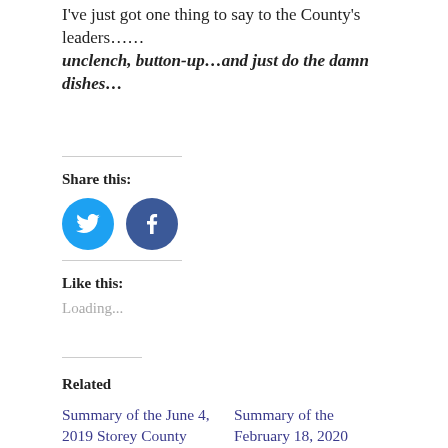I've just got one thing to say to the County's leaders…… unclench, button-up…and just do the damn dishes…
Share this:
[Figure (illustration): Twitter and Facebook social share icon buttons — circular colored icons with bird and f logos]
Like this:
Loading...
Related
Summary of the June 4, 2019 Storey County Commission Meeting
June 5, 2019
Summary of the February 18, 2020 Storey County Commission Meeting
February 24, 2020